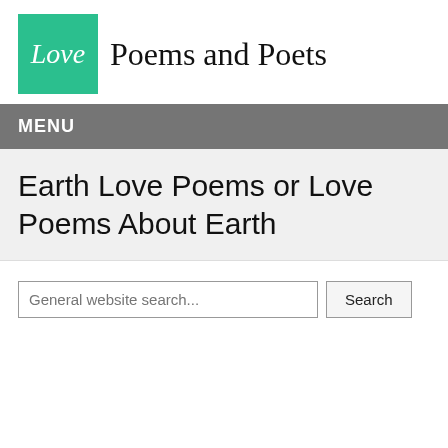Love Poems and Poets
MENU
Earth Love Poems or Love Poems About Earth
General website search... Search